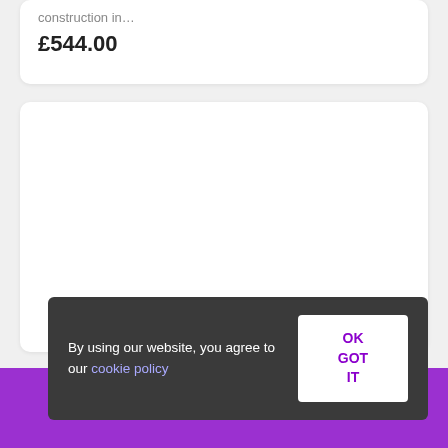construction in…
£544.00
[Figure (other): White card panel, empty content area]
By using our website, you agree to our cookie policy
OK GOT IT
Sort and Filter Results